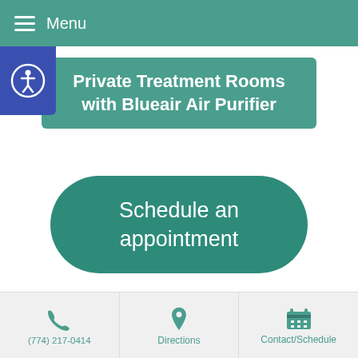Menu
Private Treatment Rooms with Blueair Air Purifier
Schedule an appointment
Point of Healing Acupuncture LLC
115 Water Street, Suite 201
Milford, MA 01757
(774) 217-0414   Directions   Contact/Schedule